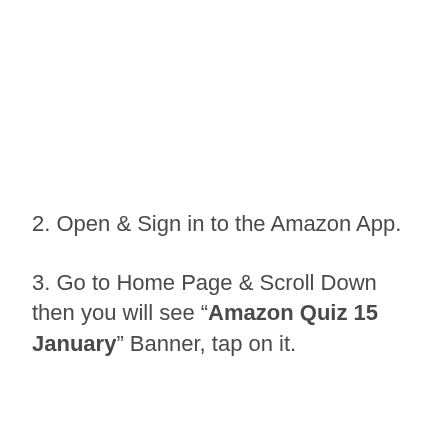2. Open & Sign in to the Amazon App.
3. Go to Home Page & Scroll Down then you will see “Amazon Quiz 15 January” Banner, tap on it.